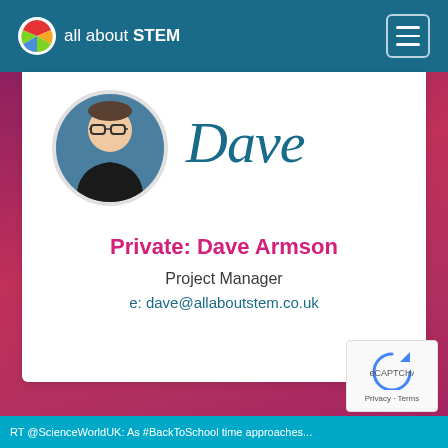all about STEM
[Figure (photo): Profile photo of Dave Armson, a young man with glasses and dark hair wearing a black shirt, shown in a circular avatar frame. To the right is a cursive script logo reading 'Dave'.]
Private: Dave Armson
Project Manager
e: dave@allaboutstem.co.uk
RT @ScienceWorldUK: As #BackToSchool time approaches...